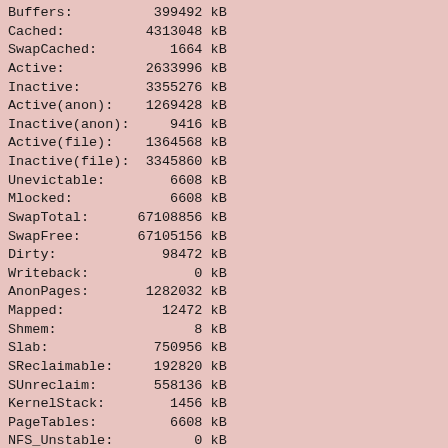Buffers:          399492 kB
Cached:          4313048 kB
SwapCached:         1664 kB
Active:          2633996 kB
Inactive:        3355276 kB
Active(anon):    1269428 kB
Inactive(anon):     9416 kB
Active(file):    1364568 kB
Inactive(file):  3345860 kB
Unevictable:        6608 kB
Mlocked:            6608 kB
SwapTotal:      67108856 kB
SwapFree:       67105156 kB
Dirty:             98472 kB
Writeback:             0 kB
AnonPages:       1282032 kB
Mapped:            12472 kB
Shmem:                 8 kB
Slab:             750956 kB
SReclaimable:     192820 kB
SUnreclaim:       558136 kB
KernelStack:        1456 kB
PageTables:         6608 kB
NFS_Unstable:          0 kB
Bounce:                0 kB
WritebackTmp:          0 kB
CommitLimit:    83545776 kB
Committed_AS:    1485264 kB
VmallocTotal:  34359738367 kB
VmallocUsed:      346368 kB
VmallocChunk:  34341987984 kB
HardwareCorrupted:     0 kB
AnonHugePages:   1191936 kB